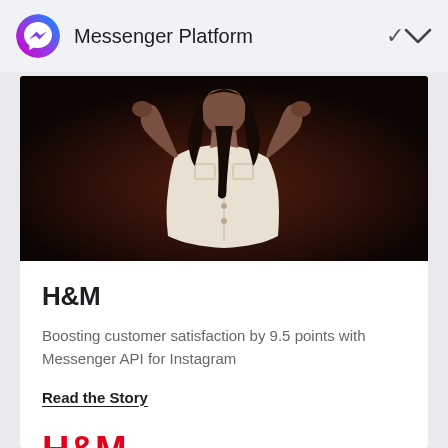Messenger Platform
[Figure (photo): A woman with long dark hair wearing a white sleeveless button-up shirt, arms raised, against a dark brown background — H&M fashion photo]
H&M
Boosting customer satisfaction by 9.5 points with Messenger API for Instagram
Read the Story
[Figure (logo): H&M brand logo in red]